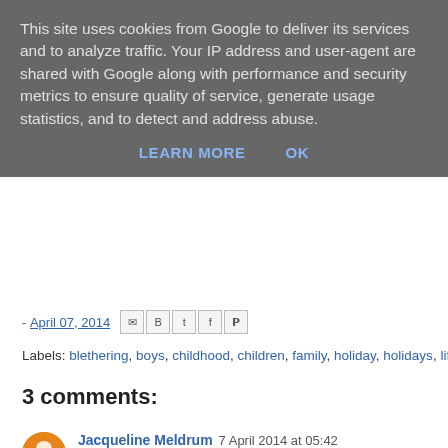This site uses cookies from Google to deliver its services and to analyze traffic. Your IP address and user-agent are shared with Google along with performance and security metrics to ensure quality of service, generate usage statistics, and to detect and address abuse.
LEARN MORE   OK
- April 07, 2014
Labels: blethering, boys, childhood, children, family, holiday, holidays, life
3 comments:
Jacqueline Meldrum 7 April 2014 at 05:42
I'm tired just thinking about it Genna!
Reply
Mike 7 April 2014 at 23:26
> It's like the house sneezed.